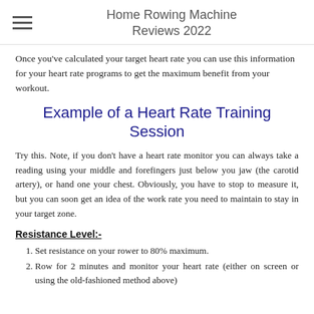Home Rowing Machine Reviews 2022
Once you've calculated your target heart rate you can use this information for your heart rate programs to get the maximum benefit from your workout.
Example of a Heart Rate Training Session
Try this. Note, if you don't have a heart rate monitor you can always take a reading using your middle and forefingers just below you jaw (the carotid artery), or hand one your chest. Obviously, you have to stop to measure it, but you can soon get an idea of the work rate you need to maintain to stay in your target zone.
Resistance Level:-
Set resistance on your rower to 80% maximum.
Row for 2 minutes and monitor your heart rate (either on screen or using the old-fashioned method above)